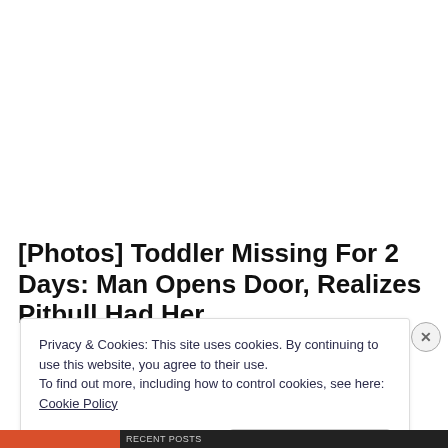[Photos] Toddler Missing For 2 Days: Man Opens Door, Realizes Pitbull Had Her
Privacy & Cookies: This site uses cookies. By continuing to use this website, you agree to their use.
To find out more, including how to control cookies, see here: Cookie Policy
Close and accept